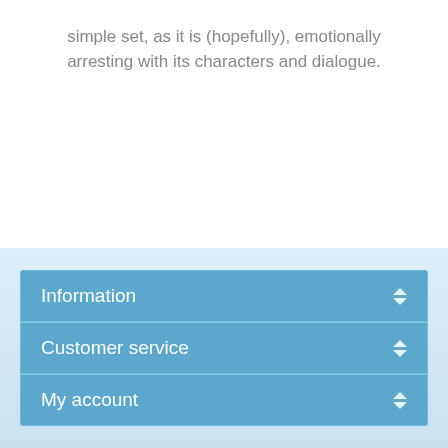simple set, as it is (hopefully), emotionally arresting with its characters and dialogue.
Information
Customer service
My account